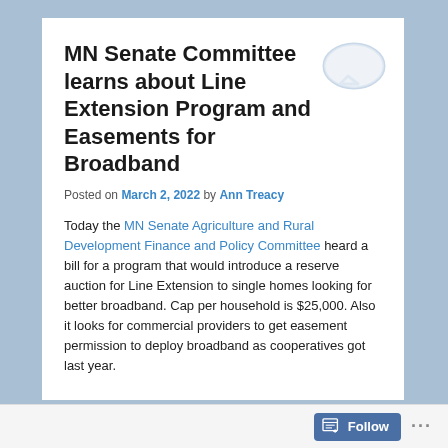MN Senate Committee learns about Line Extension Program and Easements for Broadband
Posted on March 2, 2022 by Ann Treacy
Today the MN Senate Agriculture and Rural Development Finance and Policy Committee heard a bill for a program that would introduce a reserve auction for Line Extension to single homes looking for better broadband. Cap per household is $25,000. Also it looks for commercial providers to get easement permission to deploy broadband as cooperatives got last year.
Follow